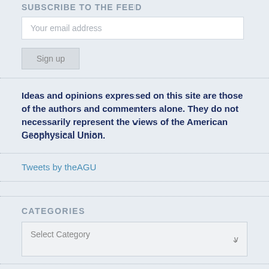SUBSCRIBE TO THE FEED
Your email address
Sign up
Ideas and opinions expressed on this site are those of the authors and commenters alone. They do not necessarily represent the views of the American Geophysical Union.
Tweets by theAGU
CATEGORIES
Select Category
ARCHIVES